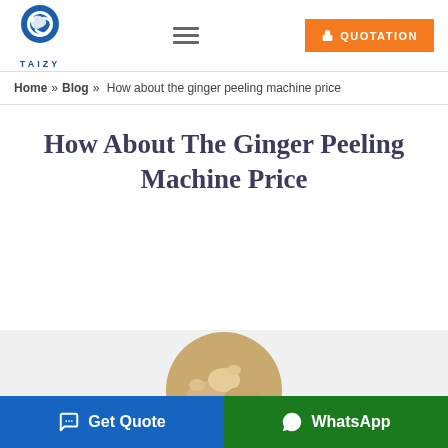[Figure (logo): Taizy company logo with blue wave/globe icon and TAIZY text below]
QUOTATION
Home » Blog » How about the ginger peeling machine price
How About The Ginger Peeling Machine Price
[Figure (photo): Photo of peeled ginger pieces, circular crop, shown partially at bottom of page]
Get Quote
WhatsApp